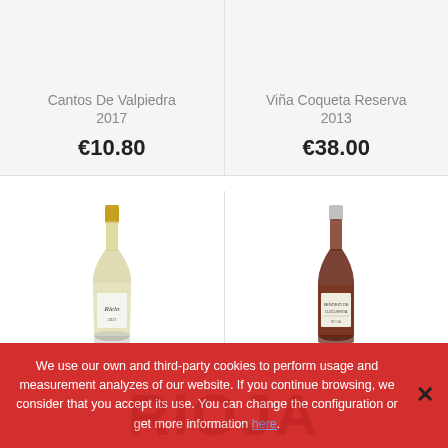Cantos De Valpiedra 2017
€10.80
Viña Coqueta Reserva 2013
€38.00
[Figure (photo): White wine bottle with gold cap labeled Rielo]
Rielo 2017
€18.00
[Figure (photo): Red wine bottle with silver cap labeled Señorio De Cuzcurrita]
Señorio De Cuzcurrita
€20.00
We use our own and third-party cookies to perform usage and measurement analyzes of our website. If you continue browsing, we consider that you accept its use. You can change the configuration or get more information here.